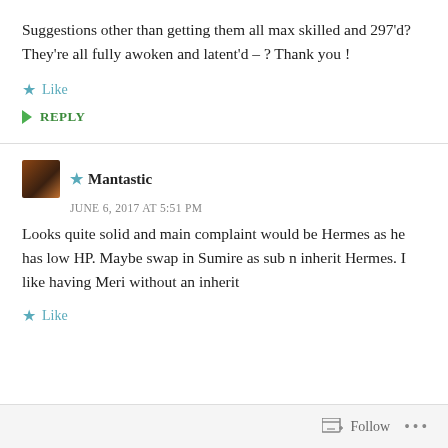Suggestions other than getting them all max skilled and 297'd? They're all fully awoken and latent'd – ? Thank you !
Like
REPLY
Mantastic
JUNE 6, 2017 AT 5:51 PM
Looks quite solid and main complaint would be Hermes as he has low HP. Maybe swap in Sumire as sub n inherit Hermes. I like having Meri without an inherit
Like
Follow